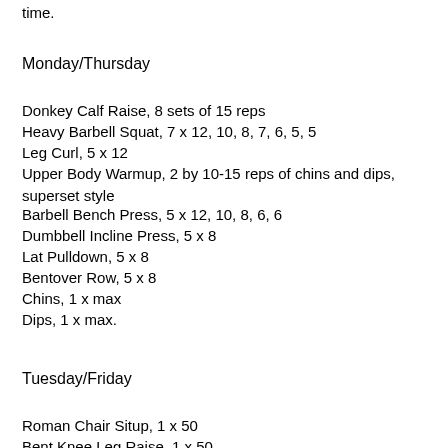time.
Monday/Thursday
Donkey Calf Raise, 8 sets of 15 reps
Heavy Barbell Squat, 7 x 12, 10, 8, 7, 6, 5, 5
Leg Curl, 5 x 12
Upper Body Warmup, 2 by 10-15 reps of chins and dips, superset style
Barbell Bench Press, 5 x 12, 10, 8, 6, 6
Dumbbell Incline Press, 5 x 8
Lat Pulldown, 5 x 8
Bentover Row, 5 x 8
Chins, 1 x max
Dips, 1 x max.
Tuesday/Friday
Roman Chair Situp, 1 x 50
Bent Knee Leg Raise, 1 x 50